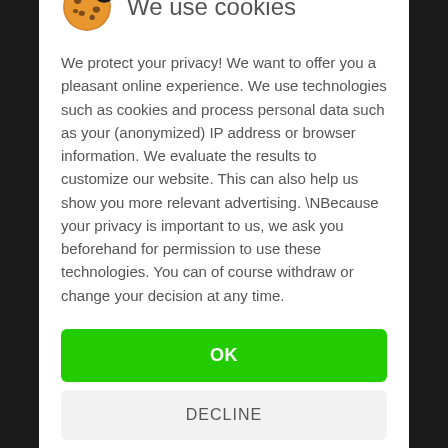We use cookies
We protect your privacy! We want to offer you a pleasant online experience. We use technologies such as cookies and process personal data such as your (anonymized) IP address or browser information. We evaluate the results to customize our website. This can also help us show you more relevant advertising. \NBecause your privacy is important to us, we ask you beforehand for permission to use these technologies. You can of course withdraw or change your decision at any time.
OK
DECLINE
More information   Imprint